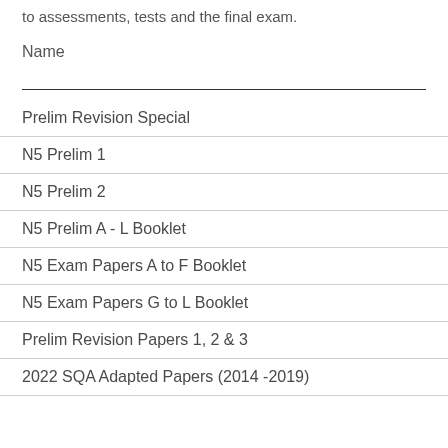to assessments, tests and the final exam.
Name
| Prelim Revision Special |
| N5 Prelim 1 |
| N5 Prelim 2 |
| N5 Prelim A - L Booklet |
| N5 Exam Papers A to F Booklet |
| N5 Exam Papers G to L Booklet |
| Prelim Revision Papers 1, 2 & 3 |
| 2022 SQA Adapted Papers (2014 -2019) |